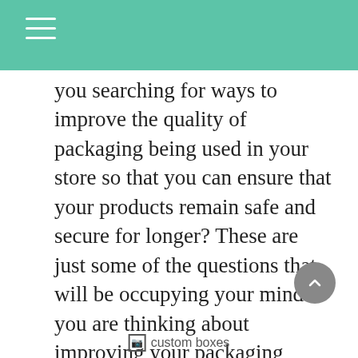you searching for ways to improve the quality of packaging being used in your store so that you can ensure that your products remain safe and secure for longer? These are just some of the questions that will be occupying your mind if you are thinking about improving your packaging designs for USA business. Read on this article for more information about how custom printed boxes and bags help in the overall development of business in USA.
[Figure (photo): custom boxes image placeholder]